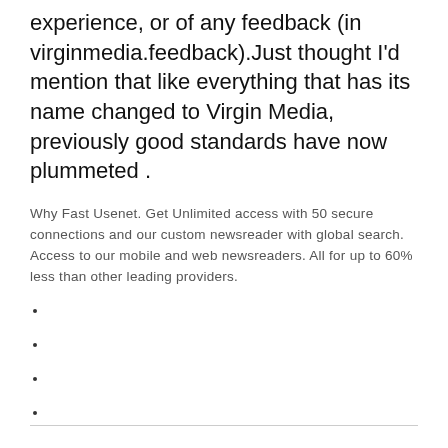experience, or of any feedback (in virginmedia.feedback).Just thought I'd mention that like everything that has its name changed to Virgin Media, previously good standards have now plummeted .
Why Fast Usenet. Get Unlimited access with 50 secure connections and our custom newsreader with global search. Access to our mobile and web newsreaders. All for up to 60% less than other leading providers.